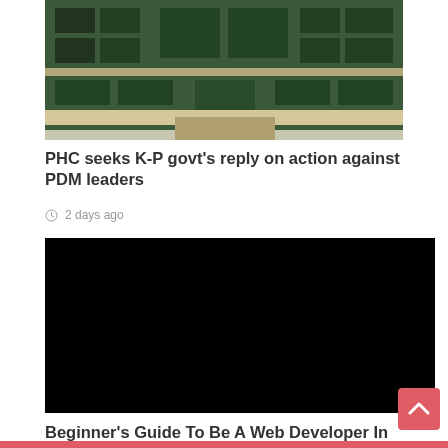[Figure (photo): Building exterior with green-tinted windows and glass facade, appears to be a government or official building]
PHC seeks K-P govt’s reply on action against PDM leaders
○ 2 days ago
[Figure (photo): Completely black/dark image, no visible content]
Beginner’s Guide To Be A Web Developer In Generation
○ 2 days ago